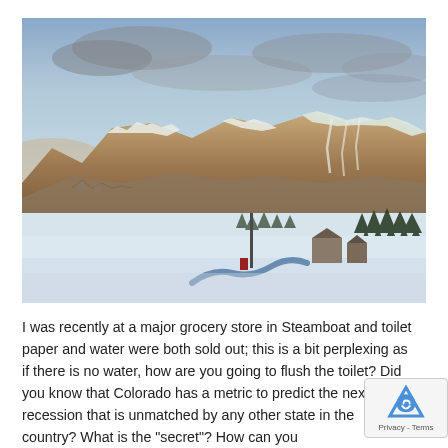[Figure (photo): Winter landscape photo showing snow-covered mountains with ski runs visible, a snowy foreground with a winding blue path or frozen creek, evergreen trees, and some buildings. Cloudy sky with warm light on the mountain tops. Location appears to be Steamboat Springs, Colorado.]
I was recently at a major grocery store in Steamboat and toilet paper and water were both sold out; this is a bit perplexing as if there is no water, how are you going to flush the toilet?  Did you know that Colorado has a metric to predict the next recession that is unmatched by any other state in the country?  What is the "secret"?  How can you